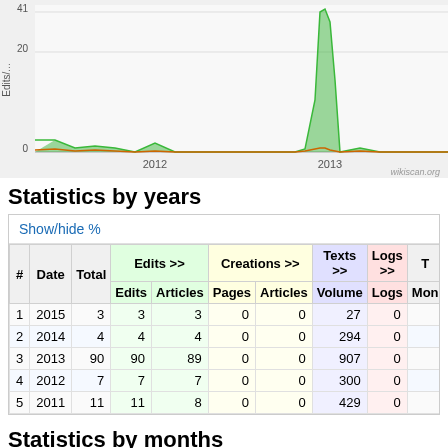[Figure (area-chart): Area chart showing edits per month from 2011 to 2013, with a large spike around 2013 reaching ~41 edits. Green filled area, orange baseline.]
Statistics by years
| # | Date | Total | Edits >> | Articles | Pages | Articles | Volume | Logs | Mon... |
| --- | --- | --- | --- | --- | --- | --- | --- | --- | --- |
| 1 | 2015 | 3 | 3 | 3 | 0 | 0 | 27 | 0 |  |
| 2 | 2014 | 4 | 4 | 4 | 0 | 0 | 294 | 0 |  |
| 3 | 2013 | 90 | 90 | 89 | 0 | 0 | 907 | 0 |  |
| 4 | 2012 | 7 | 7 | 7 | 0 | 0 | 300 | 0 |  |
| 5 | 2011 | 11 | 11 | 8 | 0 | 0 | 429 | 0 |  |
Statistics by months
| # | Date | Total | Edits >> | Articles | Pages | Articles | Volume | L... |
| --- | --- | --- | --- | --- | --- | --- | --- | --- |